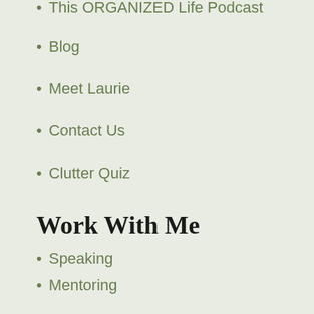This ORGANIZED Life Podcast
Blog
Meet Laurie
Contact Us
Clutter Quiz
Work With Me
Speaking
Mentoring
Become a Partner
Clutter Clinic™